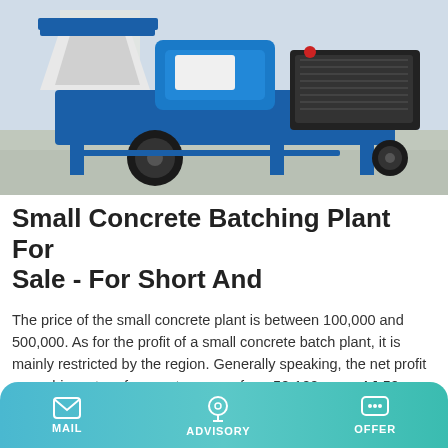[Figure (photo): Blue and white small concrete batching plant / mixer machine photographed outdoors on a concrete surface. The machine is blue with white hopper sections and large black tires, set against a light background.]
Small Concrete Batching Plant For Sale - For Short And
The price of the small concrete plant is between 100,000 and 500,000. As for the profit of a small concrete batch plant, it is mainly restricted by the region. Generally speaking, the net profit per cubic meter of concrete ranges from 50-100 yuan. AJ-50 small batching plant 3D view.
Learn More
MAIL  ADVISORY  OFFER